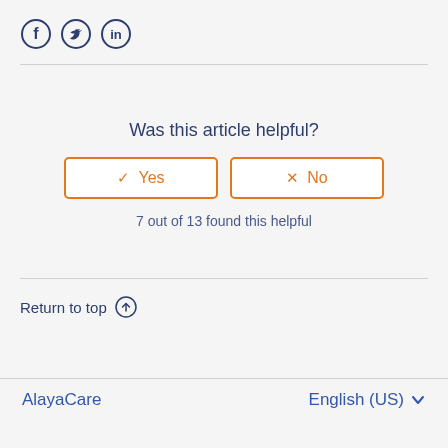[Figure (other): Social media icons: Facebook, Twitter, LinkedIn in dark blue circle outlines]
Was this article helpful?
[Figure (other): Two orange-bordered buttons: '✓ Yes' and '✗ No']
7 out of 13 found this helpful
Return to top ↑
AlayaCare    English (US) ▾